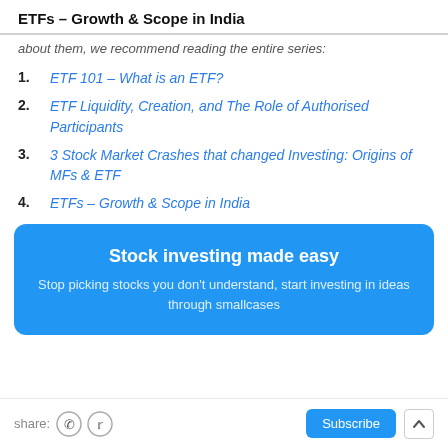ETFs – Growth & Scope in India
about them, we recommend reading the entire series:
ETF 101 – What is an ETF?
ETF Liquidity, Creation, and The Role of Authorised Participants
3 Stock Market Crashes that changed Investing: Origins of MFs & ETF
ETFs – Growth & Scope in India
[Figure (infographic): Blue banner with text: 'Stock investing made easy' and subtitle 'Stop picking stocks you don't understand, start investing in ideas through smallcases']
share: [whatsapp icon] [twitter icon]  Subscribe  [up arrow]